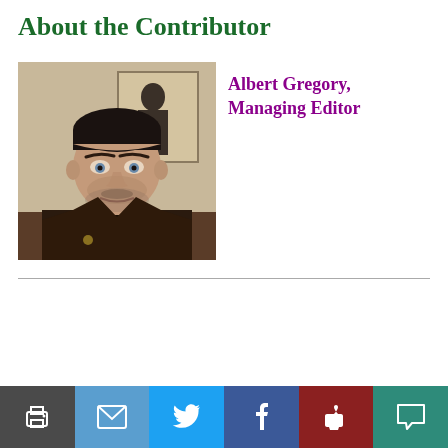About the Contributor
[Figure (photo): Headshot photo of Albert Gregory, a young man with dark slicked-back hair and stubble beard, wearing a dark brown jacket, photographed indoors with a painting visible in the background.]
Albert Gregory, Managing Editor
Print | Email | Twitter | Facebook | Like | Comment